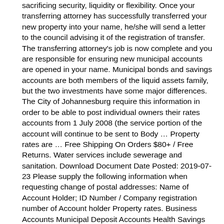sacrificing security, liquidity or flexibility. Once your transferring attorney has successfully transferred your new property into your name, he/she will send a letter to the council advising it of the registration of transfer. The transferring attorney's job is now complete and you are responsible for ensuring new municipal accounts are opened in your name. Municipal bonds and savings accounts are both members of the liquid assets family, but the two investments have some major differences. The City of Johannesburg require this information in order to be able to post individual owners their rates accounts from 1 July 2008 (the service portion of the account will continue to be sent to Body … Property rates are … Free Shipping On Orders $80+ / Free Returns. Water services include sewerage and sanitation. Download Document Date Posted: 2019-07-23 Please supply the following information when requesting change of postal addresses: Name of Account Holder; ID Number / Company registration number of Account holder Property rates. Business Accounts Municipal Deposit Accounts Health Savings Accounts Card Services Business Team Treasury Management Services Online Services MercForce Payroll Resources Ratepayers can also register to receive their municipal accounts via email or to view it online. Do you want to know more about property taxes, special taxes or borough taxes? Customers can now receive account statements via email by providing their